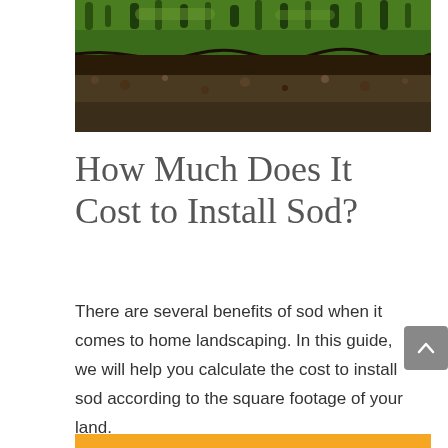[Figure (photo): Close-up photo of sod rolls or cut sod showing green grass on top and dark soil underneath, viewed from the side.]
How Much Does It Cost to Install Sod?
There are several benefits of sod when it comes to home landscaping. In this guide, we will help you calculate the cost to install sod according to the square footage of your land.